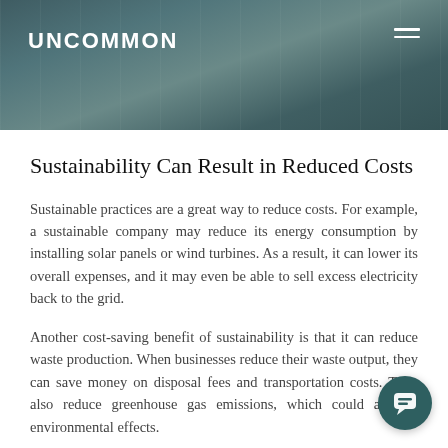UNCOMMON
Sustainability Can Result in Reduced Costs
Sustainable practices are a great way to reduce costs. For example, a sustainable company may reduce its energy consumption by installing solar panels or wind turbines. As a result, it can lower its overall expenses, and it may even be able to sell excess electricity back to the grid.
Another cost-saving benefit of sustainability is that it can reduce waste production. When businesses reduce their waste output, they can save money on disposal fees and transportation costs. They also reduce greenhouse gas emissions, which could adverse environmental effects.
But...